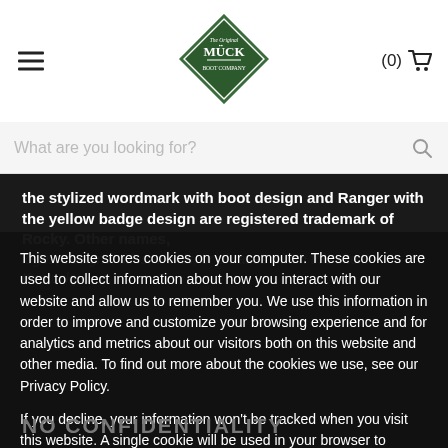Muck Boot Company logo, hamburger menu, cart (0)
[Figure (logo): The Original Muck Boot Company diamond-shaped logo in dark green]
What are you looking for?
the stylized wordmark with boot design and Ranger with the yellow badge design are registered trademark of Rocky. Other names, logos, designs, titles, words, or phrases within this site... Kentucky... may not be used without the prior... affiliated with Rocky which may appear on this Site.
This website stores cookies on your computer. These cookies are used to collect information about how you interact with our website and allow us to remember you. We use this information in order to improve and customize your browsing experience and for analytics and metrics about our visitors both on this website and other media. To find out more about the cookies we use, see our Privacy Policy.
If you decline, your information won't be tracked when you visit this website. A single cookie will be used in your browser to remember your preference not to be tracked.
Accept
Decline
NO CONFIDENTIALITY